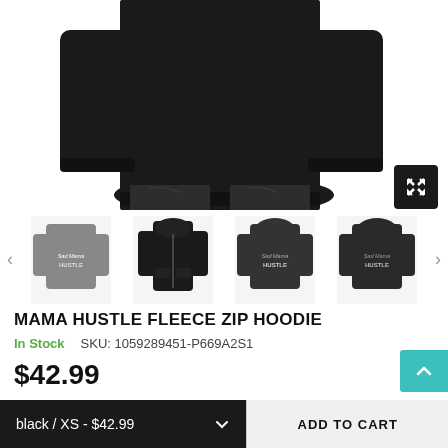[Figure (photo): Back view of person wearing a black zip hoodie with 'Mama Hustle' text on the back]
[Figure (photo): Four thumbnail images of the Mama Hustle Fleece Zip Hoodie in gray and black colorways showing front and back views]
MAMA HUSTLE FLEECE ZIP HOODIE
In Stock      SKU: 1059289451-P669A2S1
$42.99
Mama HustleFleece Zip Hoodie A true classic, this comfy, cozy zip-up is
black / XS - $42.99      ADD TO CART